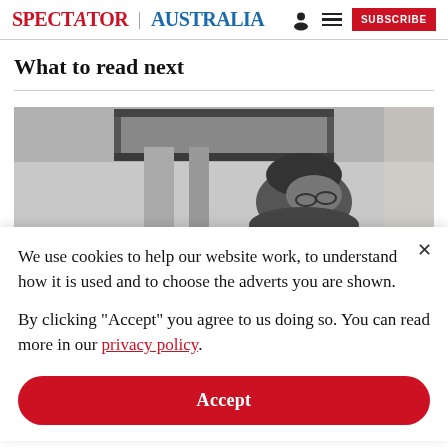SPECTATOR | AUSTRALIA
What to read next
[Figure (photo): Black and white photograph of a person looking down, partially obscured by a framed picture on the wall above them.]
We use cookies to help our website work, to understand how it is used and to choose the adverts you are shown.
By clicking "Accept" you agree to us doing so. You can read more in our privacy policy.
Accept